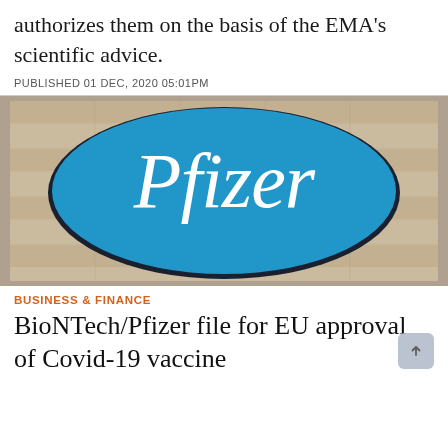authorizes them on the basis of the EMA's scientific advice.
PUBLISHED 01 DEC, 2020 05:01PM
[Figure (photo): Pfizer logo sign — a large blue oval with white 'Pfizer' text mounted on a beige/tan striped wall]
BUSINESS & FINANCE
BioNTech/Pfizer file for EU approval of Covid-19 vaccine